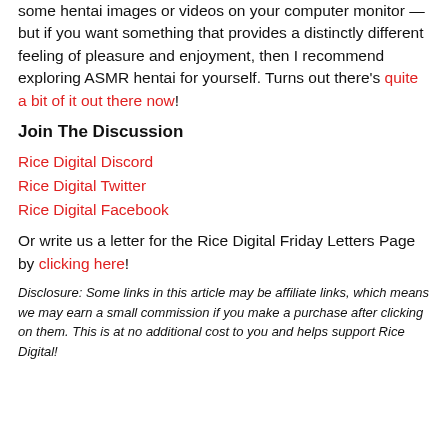some hentai images or videos on your computer monitor — but if you want something that provides a distinctly different feeling of pleasure and enjoyment, then I recommend exploring ASMR hentai for yourself. Turns out there's quite a bit of it out there now!
Join The Discussion
Rice Digital Discord
Rice Digital Twitter
Rice Digital Facebook
Or write us a letter for the Rice Digital Friday Letters Page by clicking here!
Disclosure: Some links in this article may be affiliate links, which means we may earn a small commission if you make a purchase after clicking on them. This is at no additional cost to you and helps support Rice Digital!